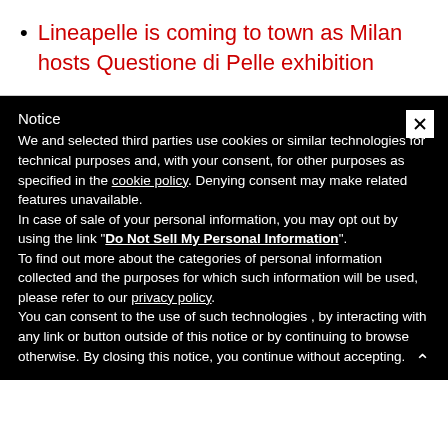Lineapelle is coming to town as Milan hosts Questione di Pelle exhibition
Notice
We and selected third parties use cookies or similar technologies for technical purposes and, with your consent, for other purposes as specified in the cookie policy. Denying consent may make related features unavailable.
In case of sale of your personal information, you may opt out by using the link "Do Not Sell My Personal Information".
To find out more about the categories of personal information collected and the purposes for which such information will be used, please refer to our privacy policy.
You can consent to the use of such technologies , by interacting with any link or button outside of this notice or by continuing to browse otherwise. By closing this notice, you continue without accepting.